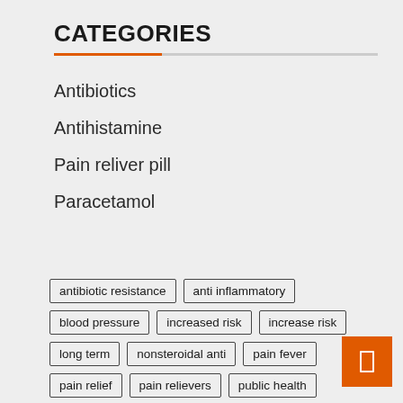CATEGORIES
Antibiotics
Antihistamine
Pain reliver pill
Paracetamol
antibiotic resistance | anti inflammatory | blood pressure | increased risk | increase risk | long term | nonsteroidal anti | pain fever | pain relief | pain relievers | public health | relieve pain | side effects | study published | united states